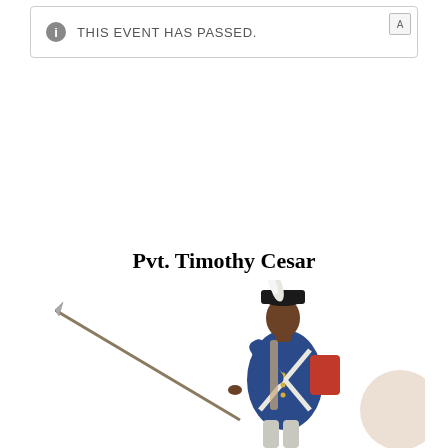THIS EVENT HAS PASSED.
Pvt. Timothy Cesar
[Figure (illustration): Illustration of Pvt. Timothy Cesar, a Black Revolutionary War soldier in uniform, wearing a dark bicorn hat with white plume, blue coat with white cross-belts, holding a rifle with bayonet at an angle.]